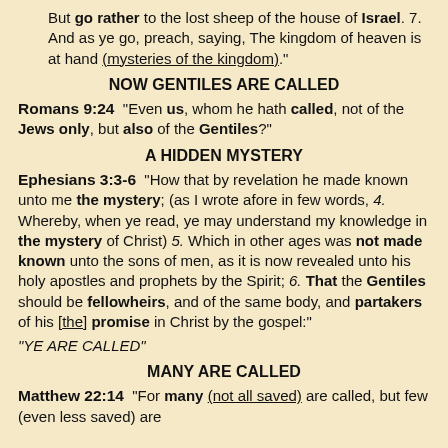But go rather to the lost sheep of the house of Israel. 7. And as ye go, preach, saying, The kingdom of heaven is at hand (mysteries of the kingdom)."
NOW GENTILES ARE CALLED
Romans 9:24  "Even us, whom he hath called, not of the Jews only, but also of the Gentiles?"
A HIDDEN MYSTERY
Ephesians 3:3-6  "How that by revelation he made known unto me the mystery; (as I wrote afore in few words, 4. Whereby, when ye read, ye may understand my knowledge in the mystery of Christ) 5. Which in other ages was not made known unto the sons of men, as it is now revealed unto his holy apostles and prophets by the Spirit; 6. That the Gentiles should be fellowheirs, and of the same body, and partakers of his [the] promise in Christ by the gospel:"
"YE ARE CALLED"
MANY ARE CALLED
Matthew 22:14  "For many (not all saved) are called, but few (even less saved) are